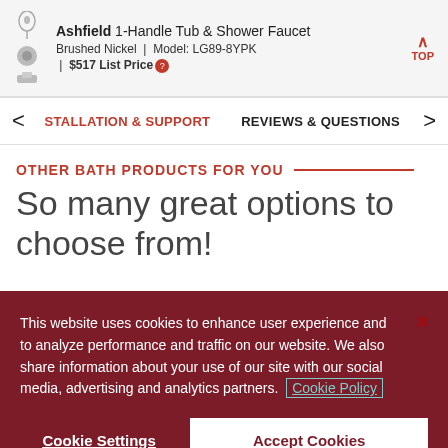Ashfield 1-Handle Tub & Shower Faucet | Brushed Nickel | Model: LG89-8YPK | $517 List Price | TOP
STALLATION & SUPPORT   REVIEWS & QUESTIONS
OTHER BATH PRODUCTS FOR YOU
So many great options to choose from!
This website uses cookies to enhance user experience and to analyze performance and traffic on our website. We also share information about your use of our site with our social media, advertising and analytics partners. Cookie Policy
Cookie Settings   Accept Cookies